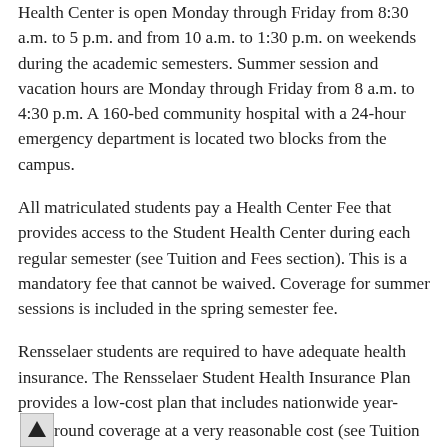Health Center is open Monday through Friday from 8:30 a.m. to 5 p.m. and from 10 a.m. to 1:30 p.m. on weekends during the academic semesters. Summer session and vacation hours are Monday through Friday from 8 a.m. to 4:30 p.m. A 160-bed community hospital with a 24-hour emergency department is located two blocks from the campus.
All matriculated students pay a Health Center Fee that provides access to the Student Health Center during each regular semester (see Tuition and Fees section). This is a mandatory fee that cannot be waived. Coverage for summer sessions is included in the spring semester fee.
Rensselaer students are required to have adequate health insurance. The Rensselaer Student Health Insurance Plan provides a low-cost plan that includes nationwide year-round coverage at a very reasonable cost (see Tuition and